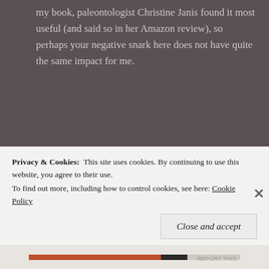my book, paleontologist Christine Janis found it most useful (and said so in her Amazon review), so perhaps your negative snark here does not have quite the same impact for me.
★ Like
Lino Di Ieldia   February 18, 2019 at 6:30 pm
rjdownard:
Privacy & Cookies:  This site uses cookies. By continuing to use this website, you agree to their use.
To find out more, including how to control cookies, see here: Cookie Policy
Close and accept